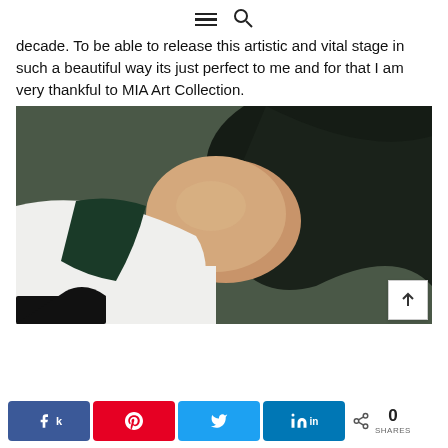☰ 🔍
decade. To be able to release this artistic and vital stage in such a beautiful way its just perfect to me and for that I am very thankful to MIA Art Collection.
[Figure (photo): Close-up photo of a person lying down, showing a bare midriff with dark fabric/clothing around them on a green textured floor surface]
Share buttons: Facebook, Pinterest, Twitter, LinkedIn — 0 SHARES